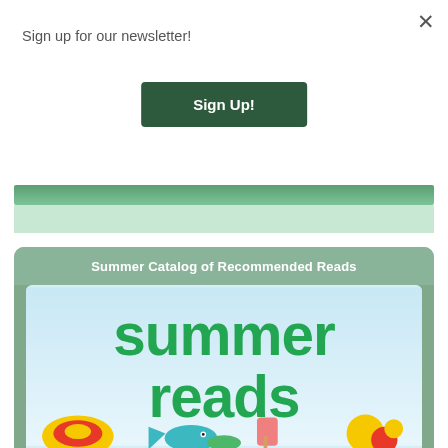Sign up for our newsletter!
Sign Up!
Summer Catalog of Recommended Reads
[Figure (illustration): Summer Reads catalog cover image showing large green text 'summer reads' on a light blue gradient background with colorful beach-themed illustrations at the bottom including shells, a fish, an ice cream bar, and flowers]